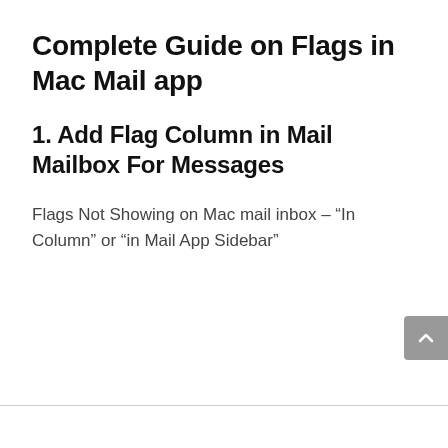Complete Guide on Flags in Mac Mail app
1. Add Flag Column in Mail Mailbox For Messages
Flags Not Showing on Mac mail inbox – “In Column” or “in Mail App Sidebar”